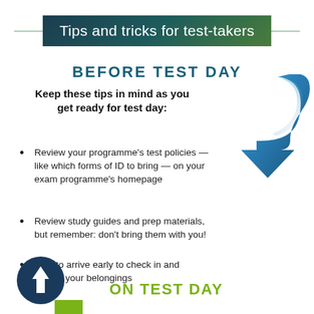Tips and tricks for test-takers
BEFORE TEST DAY
Keep these tips in mind as you get ready for test day:
[Figure (illustration): Blue curved arrow pointing downward to the right]
Review your programme's test policies — like which forms of ID to bring — on your exam programme's homepage
Review study guides and prep materials, but remember: don't bring them with you!
Plan to arrive early to check in and secure your belongings
[Figure (illustration): Dark navy circle with white upward arrow icon]
ON TEST DAY